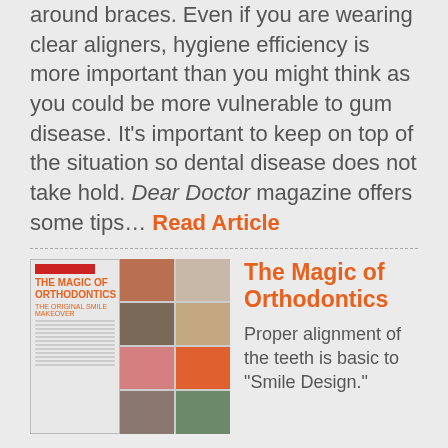around braces. Even if you are wearing clear aligners, hygiene efficiency is more important than you might think as you could be more vulnerable to gum disease. It's important to keep on top of the situation so dental disease does not take hold. Dear Doctor magazine offers some tips… Read Article
[Figure (photo): Magazine cover for 'The Magic of Orthodontics: The Original Smile Makeover' shown alongside a collage of smiling people's photos.]
The Magic of Orthodontics
Proper alignment of the teeth is basic to "Smile Design."
Their position dictates how they work together and affects the way you look and